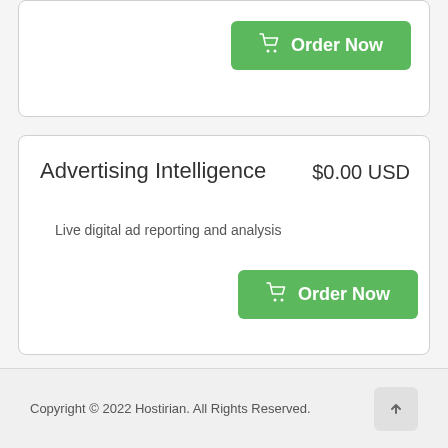Advertising Intelligence
$0.00 USD
Live digital ad reporting and analysis
[Figure (other): Green Order Now button with shopping cart icon (second card)]
[Figure (other): Green Order Now button with shopping cart icon (top card, partially visible)]
Copyright © 2022 Hostirian. All Rights Reserved.